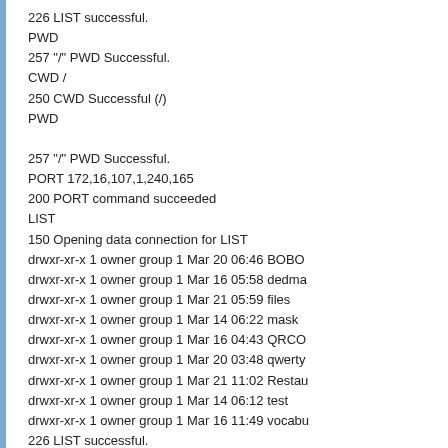226 LIST successful.
PWD
257 "/" PWD Successful.
CWD /
250 CWD Successful (/)
PWD

257 "/" PWD Successful.
PORT 172,16,107,1,240,165
200 PORT command succeeded
LIST
150 Opening data connection for LIST
drwxr-xr-x 1 owner group 1 Mar 20 06:46 BOBO
drwxr-xr-x 1 owner group 1 Mar 16 05:58 dedma
drwxr-xr-x 1 owner group 1 Mar 21 05:59 files
drwxr-xr-x 1 owner group 1 Mar 14 06:22 mask
drwxr-xr-x 1 owner group 1 Mar 16 04:43 QRCO
drwxr-xr-x 1 owner group 1 Mar 20 03:48 qwerty
drwxr-xr-x 1 owner group 1 Mar 21 11:02 Restau
drwxr-xr-x 1 owner group 1 Mar 14 06:12 test
drwxr-xr-x 1 owner group 1 Mar 16 11:49 vocabu
226 LIST successful.
CWD files
250 CWD Successful (/files)
PWD